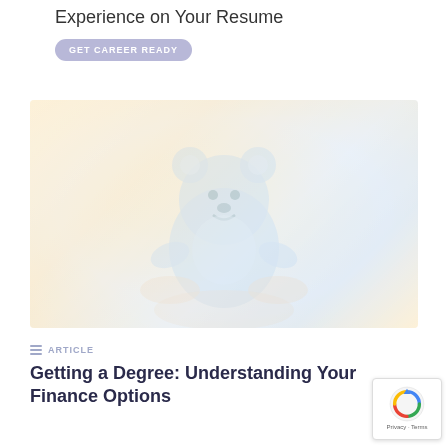Experience on Your Resume
GET CAREER READY
[Figure (photo): A faded/washed out photo of a small blue bear toy or stuffed animal being held in hands, against a warm yellowish-cream background with soft light.]
ARTICLE
Getting a Degree: Understanding Your Finance Options